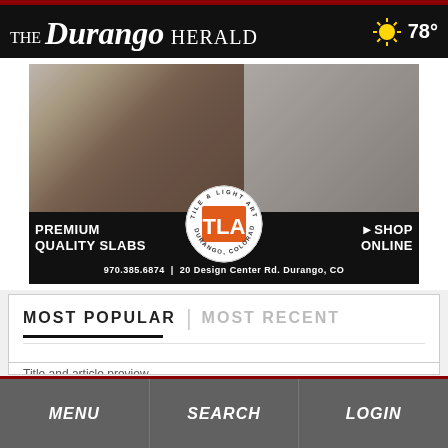THE Durango HERALD  78°
[Figure (infographic): Advertisement for Tile & Light Art, Durango Colorado. Shows kitchen and bathroom interior photos, logo, text: PREMIUM QUALITY SLABS, SHOP ONLINE, 970.385.6874 | 20 Design Center Rd. Durango, CO]
MOST POPULAR | MOST RECENT
Title and article preview (partially visible)
MENU  SEARCH  LOGIN